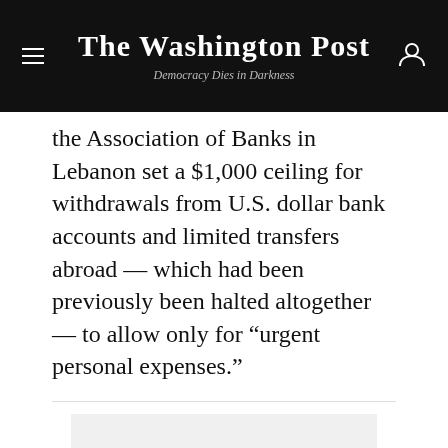The Washington Post
Democracy Dies in Darkness
the Association of Banks in Lebanon set a $1,000 ceiling for withdrawals from U.S. dollar bank accounts and limited transfers abroad — which had been previously been halted altogether — to allow only for “urgent personal expenses.”
[Figure (other): Advertisement placeholder — light gray rectangle]